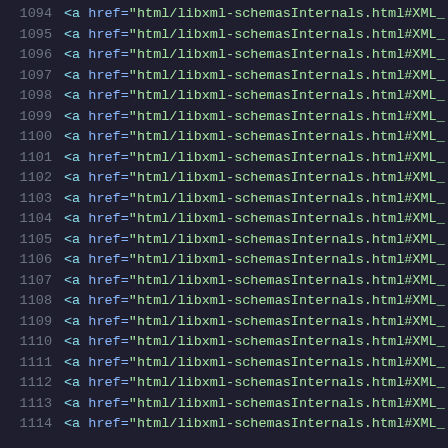1094  <a href="html/libxml-schemasInternals.html#XML_
1095  <a href="html/libxml-schemasInternals.html#XML_
1096  <a href="html/libxml-schemasInternals.html#XML_
1097  <a href="html/libxml-schemasInternals.html#XML_
1098  <a href="html/libxml-schemasInternals.html#XML_
1099  <a href="html/libxml-schemasInternals.html#XML_
1100  <a href="html/libxml-schemasInternals.html#XML_
1101  <a href="html/libxml-schemasInternals.html#XML_
1102  <a href="html/libxml-schemasInternals.html#XML_
1103  <a href="html/libxml-schemasInternals.html#XML_
1104  <a href="html/libxml-schemasInternals.html#XML_
1105  <a href="html/libxml-schemasInternals.html#XML_
1106  <a href="html/libxml-schemasInternals.html#XML_
1107  <a href="html/libxml-schemasInternals.html#XML_
1108  <a href="html/libxml-schemasInternals.html#XML_
1109  <a href="html/libxml-schemasInternals.html#XML_
1110  <a href="html/libxml-schemasInternals.html#XML_
1111  <a href="html/libxml-schemasInternals.html#XML_
1112  <a href="html/libxml-schemasInternals.html#XML_
1113  <a href="html/libxml-schemasInternals.html#XML_
1114  <a href="html/libxml-schemasInternals.html#XML_